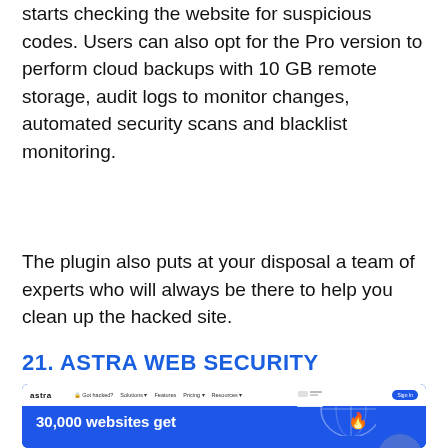starts checking the website for suspicious codes. Users can also opt for the Pro version to perform cloud backups with 10 GB remote storage, audit logs to monitor changes, automated security scans and blacklist monitoring.
The plugin also puts at your disposal a team of experts who will always be there to help you clean up the hacked site.
21. ASTRA WEB SECURITY
[Figure (screenshot): Screenshot of Astra website showing the header navigation bar with 'astra' logo and menu items (Got hacked?, Solutions, Features, Pricing, Resources), and blue background with text '30,000 websites get' and a globe graphic with security-related imagery.]